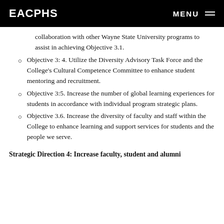EACPHS   MENU
collaboration with other Wayne State University programs to assist in achieving Objective 3.1.
Objective 3: 4. Utilize the Diversity Advisory Task Force and the College's Cultural Competence Committee to enhance student mentoring and recruitment.
Objective 3:5. Increase the number of global learning experiences for students in accordance with individual program strategic plans.
Objective 3.6. Increase the diversity of faculty and staff within the College to enhance learning and support services for students and the people we serve.
Strategic Direction 4: Increase faculty, student and alumni